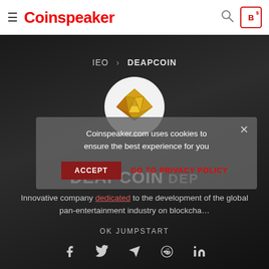Coinspeaker
IEO › DEAPCOIN
[Figure (logo): DEAPCOIN logo — gold trapezoidal gem icon inside a white circle]
Coinspeaker.com uses cookies to ensure the best experience for you
ACCEPT   GO TO PRIVACY POLICY
DEAPCOIN DEP
Innovative company dedicated to the development of the global pan-entertainment industry on blockcha...
OK JUMPSTART